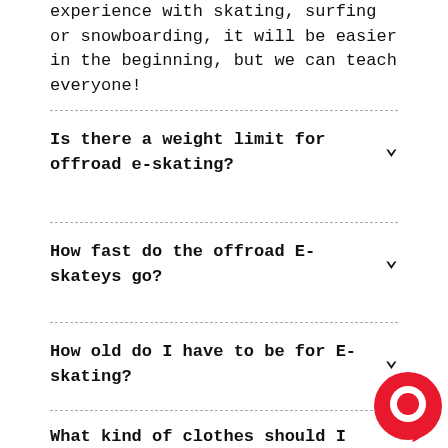experience with skating, surfing or snowboarding, it will be easier in the beginning, but we can teach everyone!
Is there a weight limit for offroad e-skating?
How fast do the offroad E-skateys go?
How old do I have to be for E-skating?
What kind of clothes should I wear?